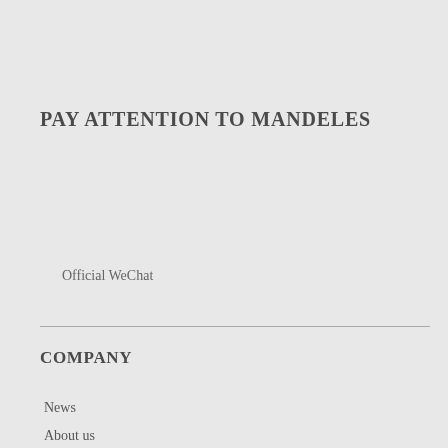PAY ATTENTION TO MANDELES
Official WeChat
COMPANY
News
About us